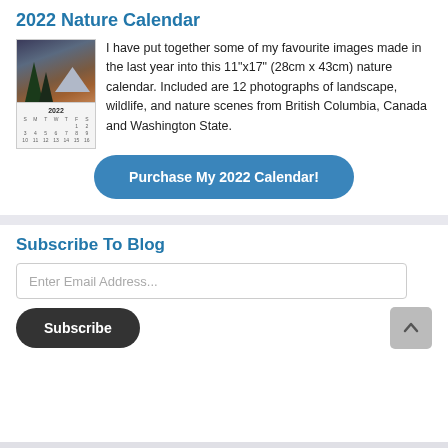2022 Nature Calendar
[Figure (photo): Thumbnail of a calendar product showing a nature/mountain landscape photo on top and a calendar grid below]
I have put together some of my favourite images made in the last year into this 11"x17" (28cm x 43cm) nature calendar. Included are 12 photographs of landscape, wildlife, and nature scenes from British Columbia, Canada and Washington State.
Purchase My 2022 Calendar!
Subscribe To Blog
Enter Email Address...
Subscribe